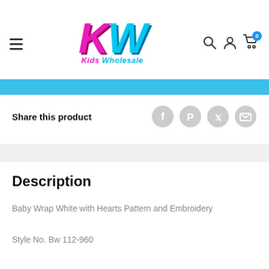[Figure (logo): Kids Wholesale (KW) logo with pink K and cyan W letters, italic colorful font, subtitle 'Kids Wholesale' in cyan and pink]
[Figure (infographic): Navigation bar with hamburger menu, search icon, user account icon, and shopping cart icon with badge showing 0]
[Figure (infographic): Blue horizontal banner/strip]
Share this product
[Figure (infographic): Social share icons: Facebook, Pinterest, Twitter, Email — all grey circular buttons]
Description
Baby Wrap White with Hearts Pattern and Embroidery
Style No. Bw 112-960